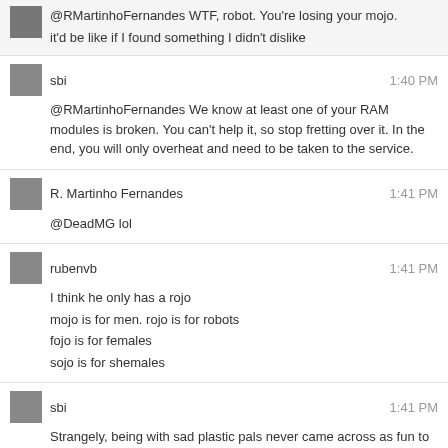@RMartinhoFernandes WTF, robot. You're losing your mojo.
it'd be like if I found something I didn't dislike
sbi 1:40 PM
@RMartinhoFernandes We know at least one of your RAM modules is broken. You can't help it, so stop fretting over it. In the end, you will only overheat and need to be taken to the service.
R. Martinho Fernandes 1:41 PM
@DeadMG lol
rubenvb 1:41 PM
I think he only has a rojo
mojo is for men. rojo is for robots
fojo is for females
sojo is for shemales
sbi 1:41 PM
Strangely, being with sad plastic pals never came across as fun to me.
R. Martinho Fernandes 1:41 PM
I'm now going to learn if twitter feeds last years.
I remember I found it on Twitter.
sehe 1:42 PM
@rubenvb dojo is for... dorks ?
DeadMG 1:43 PM